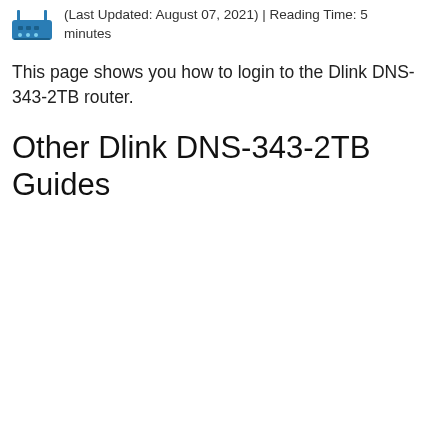(Last Updated: August 07, 2021) | Reading Time: 5 minutes
This page shows you how to login to the Dlink DNS-343-2TB router.
Other Dlink DNS-343-2TB Guides